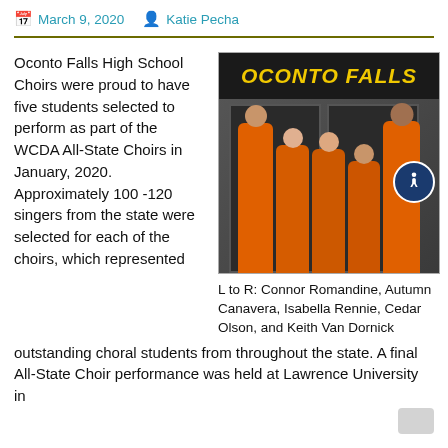March 9, 2020   Katie Pecha
Oconto Falls High School Choirs were proud to have five students selected to perform as part of the WCDA All-State Choirs in January, 2020. Approximately 100 -120 singers from the state were selected for each of the choirs, which represented
[Figure (photo): Group photo of five students in orange Oconto Falls sweatshirts standing in front of the Oconto Falls school entrance with a sign reading OCONTO FALLS above dark doors. An accessibility icon is visible on the right side.]
L to R: Connor Romandine, Autumn Canavera, Isabella Rennie, Cedar Olson, and Keith Van Dornick
outstanding choral students from throughout the state. A final All-State Choir performance was held at Lawrence University in